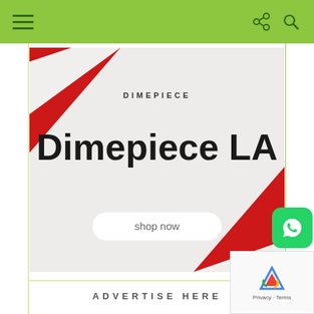Navigation bar with hamburger menu, share icon, and search icon
[Figure (illustration): Dimepiece LA advertisement banner with red triangles in corners, DIMEPIECE logo, large 'Dimepiece LA' heading, and 'shop now' button on light grey background]
ADVERTISE HERE